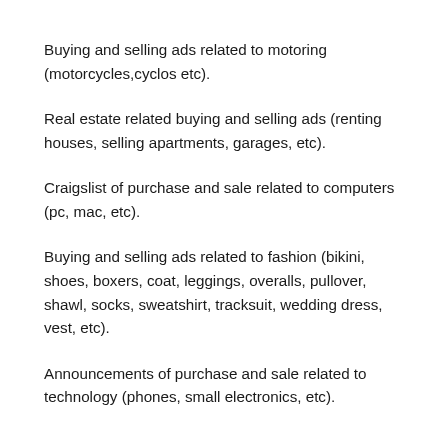Buying and selling ads related to motoring (motorcycles,cyclos etc).
Real estate related buying and selling ads (renting houses, selling apartments, garages, etc).
Craigslist of purchase and sale related to computers (pc, mac, etc).
Buying and selling ads related to fashion (bikini, shoes, boxers, coat, leggings, overalls, pullover, shawl, socks, sweatshirt, tracksuit, wedding dress, vest, etc).
Announcements of purchase and sale related to technology (phones, small electronics, etc).